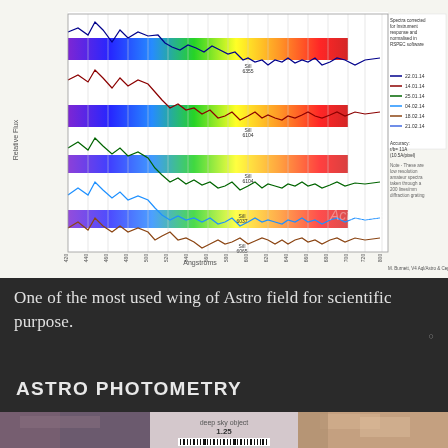[Figure (continuous-plot): Multi-series spectral chart showing stellar spectra (Relative Flux vs Wavelength in Angstroms) for multiple observation dates (22.01.14, 14.01.14, 25.01.14, 04.02.14, 18.02.14, 21.02.14). Rainbow-colored horizontal bands represent visible spectrum. Several spectral lines labeled including SiII 6355, SiI 6104, FeII 6037, FeI 6065, and others. Legend and accuracy notes on the right. Caption: M. Burnett, V4 Aql/Astro & Cepheids Astronomy]
One of the most used wing of Astro field for scientific purpose.
ASTRO PHOTOMETRY
[Figure (photo): Astronomical photometry image strip at bottom showing nebula/deep sky object with a scale bar label 'deep sky object 1.25']